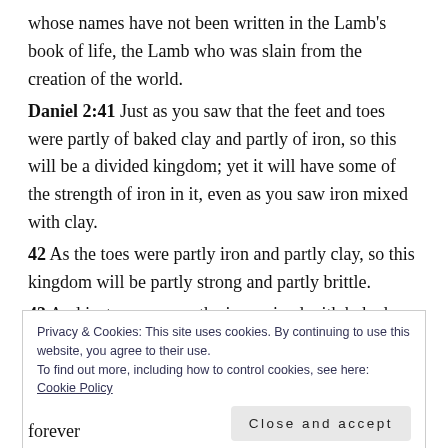whose names have not been written in the Lamb's book of life, the Lamb who was slain from the creation of the world.
Daniel 2:41 Just as you saw that the feet and toes were partly of baked clay and partly of iron, so this will be a divided kingdom; yet it will have some of the strength of iron in it, even as you saw iron mixed with clay.
42 As the toes were partly iron and partly clay, so this kingdom will be partly strong and partly brittle.
43 And just as you saw the iron mixed with baked clay, so the people will be a mixture and will not remain united,
Privacy & Cookies: This site uses cookies. By continuing to use this website, you agree to their use.
To find out more, including how to control cookies, see here: Cookie Policy
Close and accept
forever